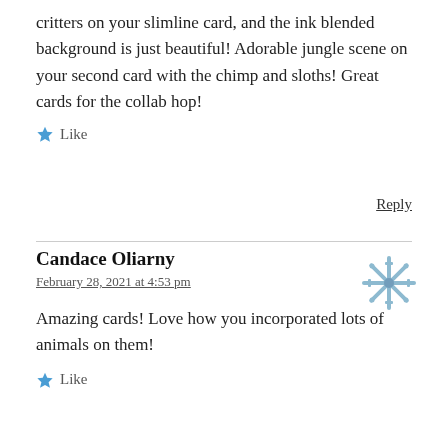critters on your slimline card, and the ink blended background is just beautiful! Adorable jungle scene on your second card with the chimp and sloths! Great cards for the collab hop!
Like
Reply
Candace Oliarny
February 28, 2021 at 4:53 pm
[Figure (illustration): Decorative snowflake/star avatar in blue-grey color for user Candace Oliarny]
Amazing cards! Love how you incorporated lots of animals on them!
Like